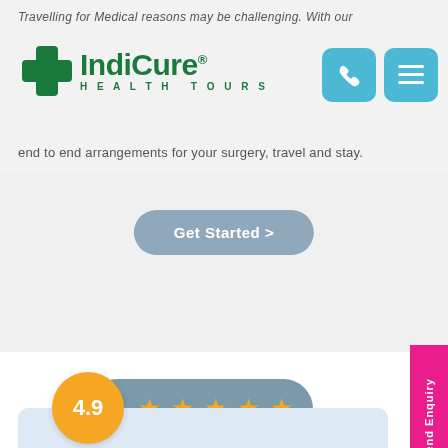Travelling for Medical reasons may be challenging. With our
[Figure (logo): IndiCure Health Tours logo with green cross and green text]
[Figure (other): Two teal rounded square navigation buttons (phone and menu icons)]
end to end arrangements for your surgery, travel and stay.
Get Started >
[Figure (infographic): Rating badge: yellow circle with 4.9 overlapping a teal pill with 5 gold stars]
[Figure (other): Send Enquiry pink vertical sidebar tab]
[Figure (other): Bottom light blue card area partially visible]